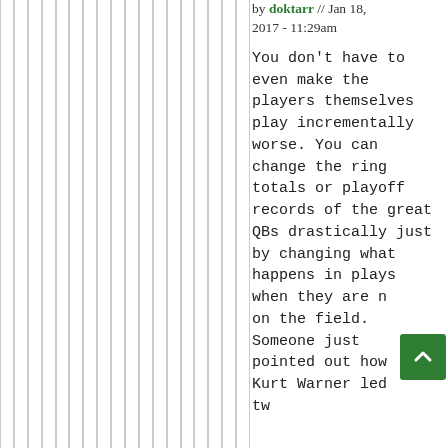[Figure (other): Vertical gray stripes decorative panel on the left side of the page]
by doktarr // Jan 18, 2017 - 11:29am
You don't have to even make the players themselves play incrementally worse. You can change the ring totals or playoff records of the great QBs drastically just by changing what happens in plays when they are not on the field. Someone just pointed out how Kurt Warner led two or lead taking